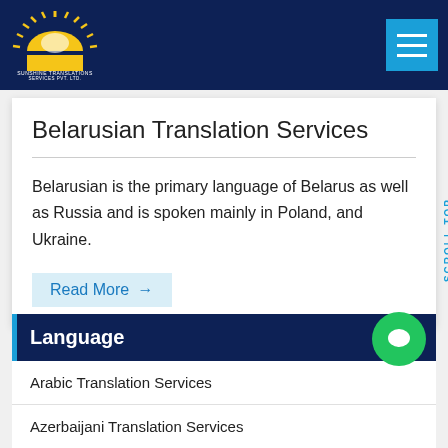Sunshine Translation Services Pvt. Ltd. — Navigation
Belarusian Translation Services
Belarusian is the primary language of Belarus as well as Russia and is spoken mainly in Poland, and Ukraine.
Read More →
Language
Arabic Translation Services
Azerbaijani Translation Services